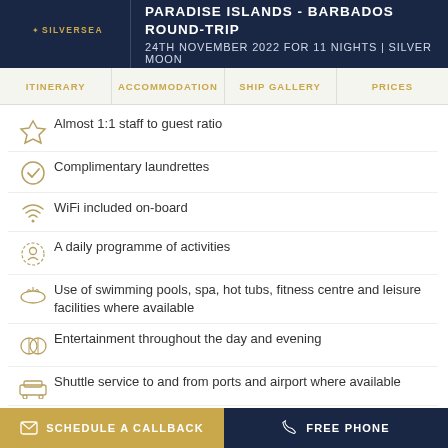PARADISE ISLANDS - BARBADOS ROUND-TRIP | 24TH NOVEMBER 2022 FOR 11 NIGHTS | SILVER MOON
Almost 1:1 staff to guest ratio
Complimentary laundrettes
WiFi included on-board
A daily programme of activities
Use of swimming pools, spa, hot tubs, fitness centre and leisure facilities where available
Entertainment throughout the day and evening
Shuttle service to and from ports and airport where available
Return flights and transfers from a choice of UK airports (fly-cruise bookings)
SCHEDULE A CALLBACK | FREE PHONE